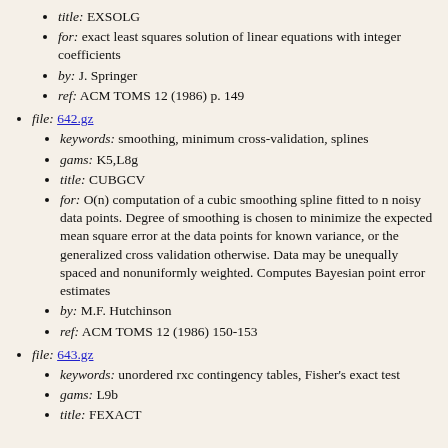title: EXSOLG
for: exact least squares solution of linear equations with integer coefficients
by: J. Springer
ref: ACM TOMS 12 (1986) p. 149
file: 642.gz
keywords: smoothing, minimum cross-validation, splines
gams: K5,L8g
title: CUBGCV
for: O(n) computation of a cubic smoothing spline fitted to n noisy data points. Degree of smoothing is chosen to minimize the expected mean square error at the data points for known variance, or the generalized cross validation otherwise. Data may be unequally spaced and nonuniformly weighted. Computes Bayesian point error estimates
by: M.F. Hutchinson
ref: ACM TOMS 12 (1986) 150-153
file: 643.gz
keywords: unordered rxc contingency tables, Fisher's exact test
gams: L9b
title: FEXACT